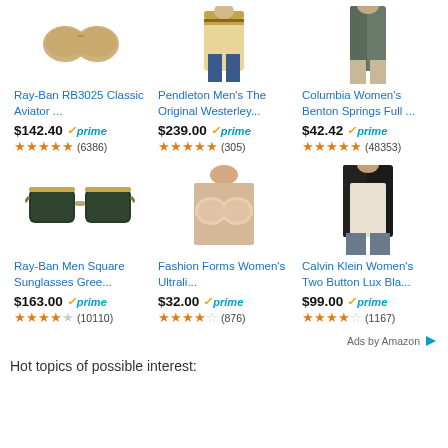[Figure (screenshot): Amazon product listing grid with 6 items: Ray-Ban RB3025 Classic Aviator, Pendleton Men's The Original Westerley, Columbia Women's Benton Springs Full, Ray-Ban Men Square Sunglasses Gree, Fashion Forms Women's Ultrali, Calvin Klein Women's Two Button Lux Bla]
Ads by Amazon
Hot topics of possible interest: